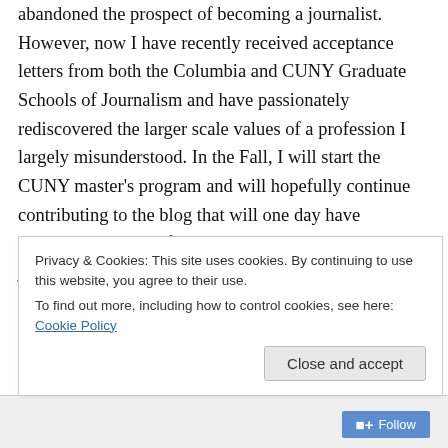abandoned the prospect of becoming a journalist. However, now I have recently received acceptance letters from both the Columbia and CUNY Graduate Schools of Journalism and have passionately rediscovered the larger scale values of a profession I largely misunderstood. In the Fall, I will start the CUNY master's program and will hopefully continue contributing to the blog that will one day have documented some of my development as a writer and a journalist.
But before that, there is so much introspection that took place this past year. And the piece of writing that has...
Privacy & Cookies: This site uses cookies. By continuing to use this website, you agree to their use.
To find out more, including how to control cookies, see here: Cookie Policy